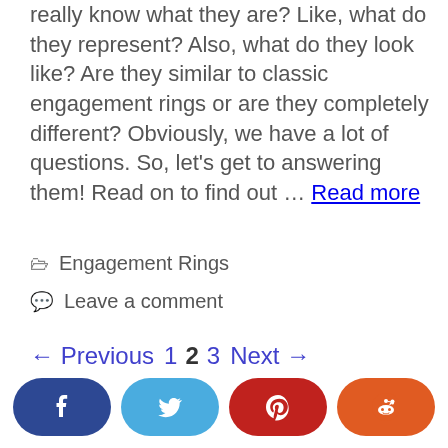really know what they are? Like, what do they represent? Also, what do they look like? Are they similar to classic engagement rings or are they completely different? Obviously, we have a lot of questions. So, let’s get to answering them! Read on to find out … Read more
📁 Engagement Rings
💬 Leave a comment
← Previous  1  2  3  Next →
[Figure (other): Social share buttons: Facebook, Twitter, Pinterest, Reddit]